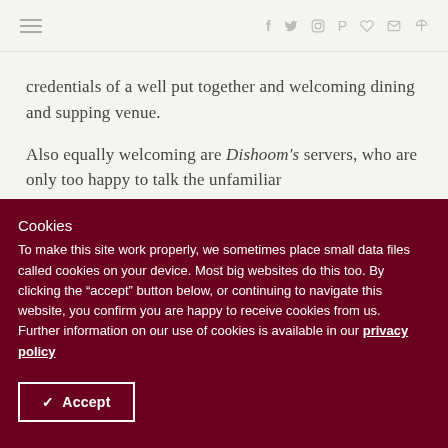Navigation bar with hamburger menu and social icons (f, Twitter, Instagram, Pinterest, Heart, Email, RSS)
credentials of a well put together and welcoming dining and supping venue.
Also equally welcoming are Dishoom's servers, who are only too happy to talk the unfamiliar
Cookies
To make this site work properly, we sometimes place small data files called cookies on your device. Most big websites do this too. By clicking the "accept" button below, or continuing to navigate this website, you confirm you are happy to receive cookies from us.
Further information on our use of cookies is available in our privacy policy
✓ Accept